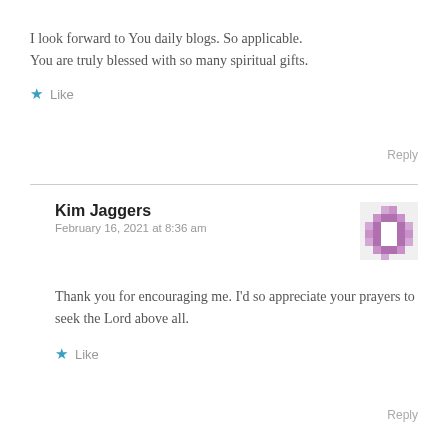I look forward to You daily blogs. So applicable.
You are truly blessed with so many spiritual gifts.
★ Like
Reply
Kim Jaggers
February 16, 2021 at 8:36 am
Thank you for encouraging me. I'd so appreciate your prayers to seek the Lord above all.
★ Like
Reply